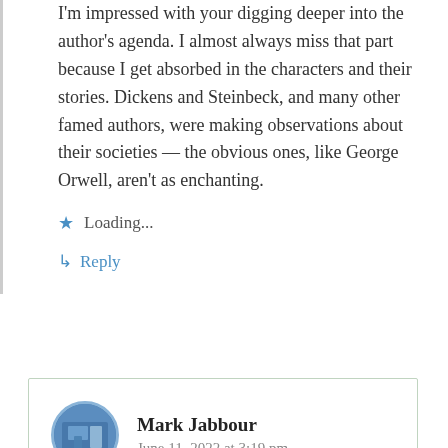I'm impressed with your digging deeper into the author's agenda. I almost always miss that part because I get absorbed in the characters and their stories. Dickens and Steinbeck, and many other famed authors, were making observations about their societies — the obvious ones, like George Orwell, aren't as enchanting.
Loading...
Reply
Mark Jabbour
June 11, 2022 at 3:19 pm
Well, you know me – that's my favorite part; The